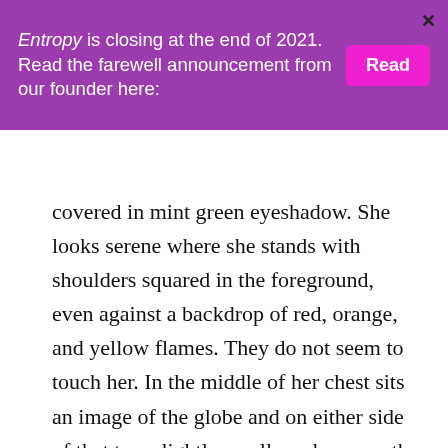Entropy is closing at the end of 2021. Read the farewell announcement from our founder here:
covered in mint green eyeshadow. She looks serene where she stands with shoulders squared in the foreground, even against a backdrop of red, orange, and yellow flames. They do not seem to touch her. In the middle of her chest sits an image of the globe and on either side of that two slightly smaller orbs—one the sun, and the other the yin and yang symbol. Acorns rain down from the sky.

What does it mean for rain to be replaced with acorns? Acorns can't put out the fire